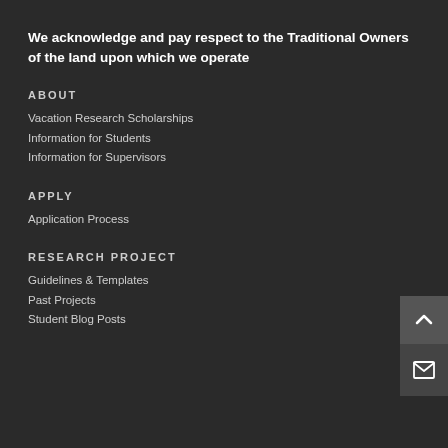We acknowledge and pay respect to the Traditional Owners of the land upon which we operate
ABOUT
Vacation Research Scholarships
Information for Students
Information for Supervisors
APPLY
Application Process
RESEARCH PROJECT
Guidelines & Templates
Past Projects
Student Blog Posts